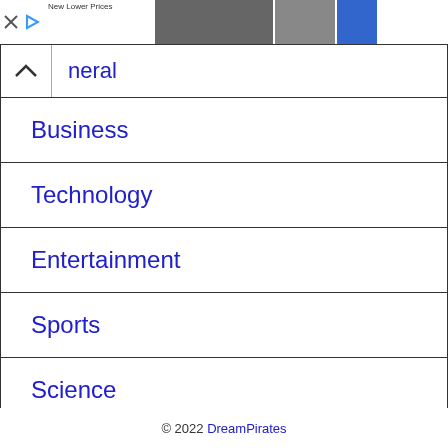[Figure (screenshot): Advertisement banner with 'New Lower Prices' text and fashion/suit images]
General
Business
Technology
Entertainment
Sports
Science
Health
© 2022 DreamPirates